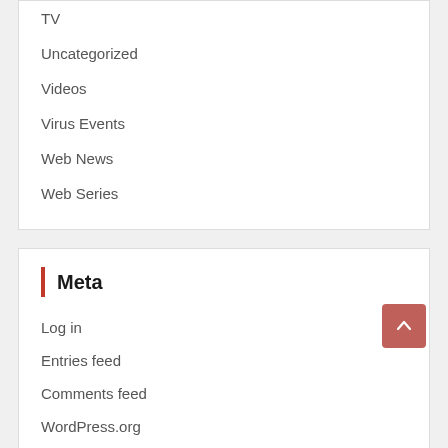TV
Uncategorized
Videos
Virus Events
Web News
Web Series
Meta
Log in
Entries feed
Comments feed
WordPress.org
You may Missed
[Figure (photo): Row of thumbnail images at the bottom of the page, showing various colorful music-related thumbnails]